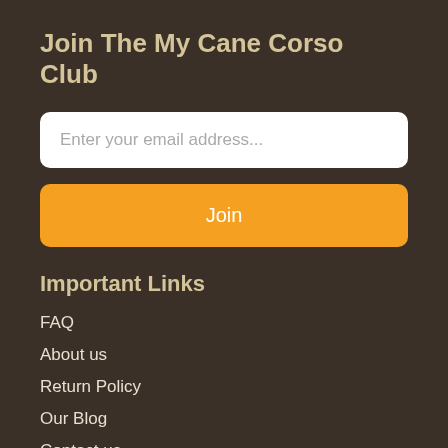Join The My Cane Corso Club
Enter your email address...
Join
Important Links
FAQ
About us
Return Policy
Our Blog
Contact us
Privacy Policy
Return Center